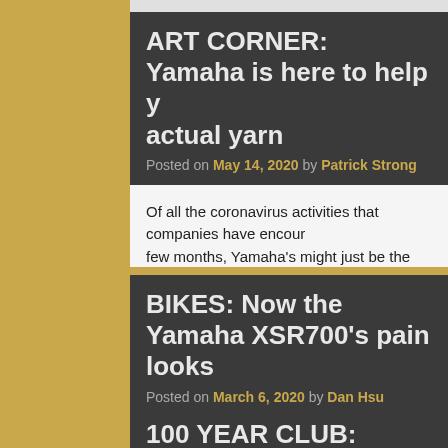ART CORNER: Yamaha is here to help y... actual yarn
Posted on May 14, 2020 by Patrick Strong
Of all the coronavirus activities that companies have encour... few months, Yamaha's might just be the most bizarre. The m... of downloadable templates that allow you to crochet … Cont...
POSTED IN ART CORNER | TAGGED MOTORCYCLES, NIKEN, SR400, V...
BIKES: Now the Yamaha XSR700's pain... looks
Posted on March 6, 2020 by Dan Hsu
When Yamaha introduced the XSR700 in 2016, its goal was... classic styling. The naked twin used the MT-07's frame, susp... parallel twin, but wore the retro look of famous Yamahas of ...
POSTED IN UNCATEGORIZED | TAGGED MOTORCYCLES, RZ250R, XS ...
100 YEAR CLUB: Mazda, Part 01